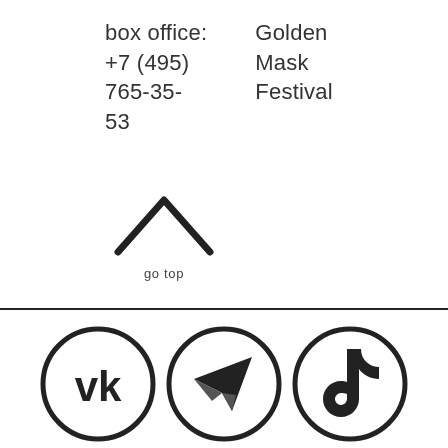box office:
+7 (495)
765-35-
53
Golden
Mask
Festival
[Figure (illustration): Upward-pointing chevron arrow (go to top icon) with label 'go top' below]
[Figure (illustration): Three social media icons in circles: VKontakte (VK), Telegram (paper plane), TikTok]